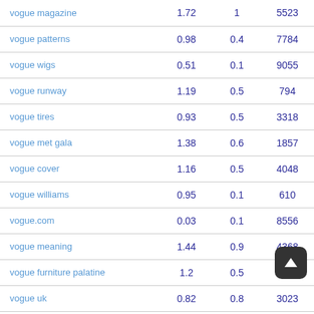| Keyword | Col1 | Col2 | Col3 | Score |
| --- | --- | --- | --- | --- |
| vogue magazine | 1.72 | 1 | 5523 | 98 |
| vogue patterns | 0.98 | 0.4 | 7784 | 41 |
| vogue wigs | 0.51 | 0.1 | 9055 | 33 |
| vogue runway | 1.19 | 0.5 | 794 | 33 |
| vogue tires | 0.93 | 0.5 | 3318 | 98 |
| vogue met gala | 1.38 | 0.6 | 1857 | 8 |
| vogue cover | 1.16 | 0.5 | 4048 | 64 |
| vogue williams | 0.95 | 0.1 | 610 | 79 |
| vogue.com | 0.03 | 0.1 | 8556 | 1 |
| vogue meaning | 1.44 | 0.9 | 4368 | 51 |
| vogue furniture palatine | 1.2 | 0.5 | 8575 |  |
| vogue uk | 0.82 | 0.8 | 3023 | 90 |